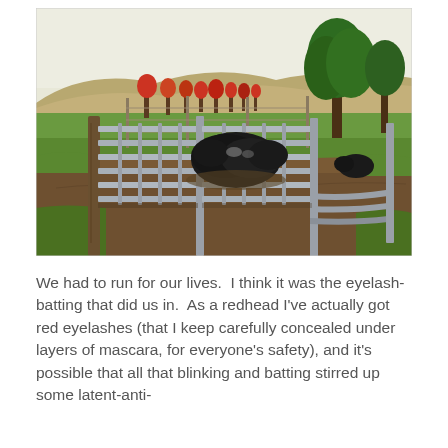[Figure (photo): Outdoor farm scene showing cattle gathered at a metal gate/corral fence. Green pasture fields and rolling hills visible in the background, along with trees with red/orange autumn foliage. The foreground shows a dirt pen area with metal livestock panels.]
We had to run for our lives.  I think it was the eyelash-batting that did us in.  As a redhead I've actually got red eyelashes (that I keep carefully concealed under layers of mascara, for everyone's safety), and it's possible that all that blinking and batting stirred up some latent-anti-